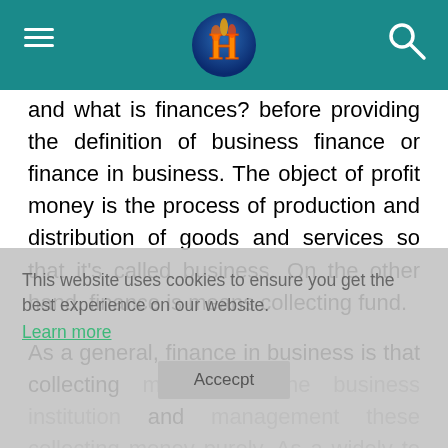Header bar with hamburger menu, H logo, and search icon
and what is finances? before providing the definition of business finance or finance in business. The object of profit money is the process of production and distribution of goods and services so that it’s called business. On the other hand, finance is means collecting fund.

As a general, finance in business is that collecting money for the business institution and management these collecting money purely. As a widely to acquire the objects of business if determine the scope of investing, rating the source of finances, collect money, proper use and distribution of collected money, distribution of money. Communication with the financial markets
This website uses cookies to ensure you get the best experience on our website. Learn more Accept